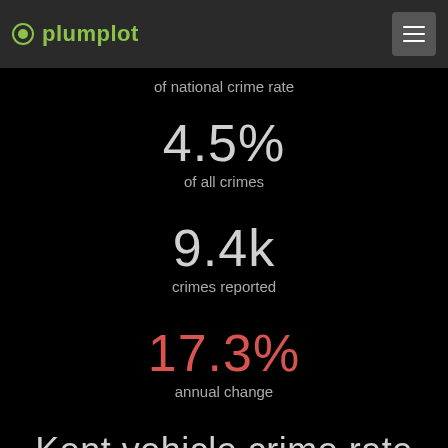plumplot
of national crime rate
4.5%
of all crimes
9.4k
crimes reported
17.3%
annual change
Kent vehicle crime rate